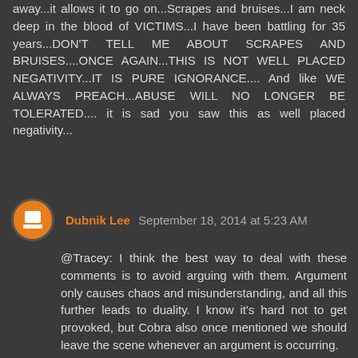away...it allows it to go on...Scrapes and bruises...I am neck deep in the blood of VICTIMS...I have been battling for 35 years...DON'T TELL ME ABOUT SCRAPES AND BRUISES....ONCE AGAIN...THIS IS NOT WELL PLACED NEGATIVITY...IT IS PURE IGNORANCE.... And like WE ALWAYS PREACH...ABUSE WILL NO LONGER BE TOLERATED.... it is sad you saw this as well placed negativity...
Dubnik Lee September 18, 2014 at 5:23 AM
@Tracey: I think the best way to deal with these comments is to avoid arguing with them. Argument only causes chaos and misunderstanding, and all this further leads to duality. I know it's hard not to get provoked, but Cobra also once mentioned we should leave the scene whenever an argument is occurring.